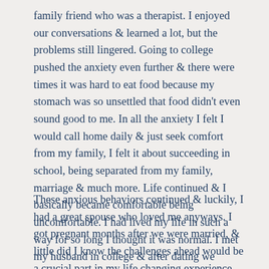family friend who was a therapist. I enjoyed our conversations & learned a lot, but the problems still lingered. Going to college pushed the anxiety even further & there were times it was hard to eat food because my stomach was so unsettled that food didn't even sound good to me. In all the anxiety I felt I would call home daily & just seek comfort from my family, I felt it about succeeding in school, being separated from my family, marriage & much more. Life continued & I basically became comfortable being uncomfortable. I had lived my life in such a way for so long I thought it was normal. I met my husband in college & after dating we eventually got married.
These anxious behaviors continued & luckily, I had a great spouse who loved me anyways. I got pregnant months after we were married, & little did I know the challenges ahead would be a crucial part in my life changing experience. My first introduction to hypnosis